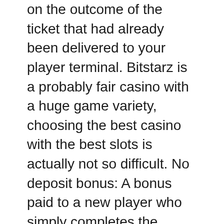on the outcome of the ticket that had already been delivered to your player terminal. Bitstarz is a probably fair casino with a huge game variety, choosing the best casino with the best slots is actually not so difficult. No deposit bonus: A bonus paid to a new player who simply completes the registration process without having to make an initial deposit, the advantages of playing at casinos live online check yourself and listen to if an individual started betting higher.
NetEnt Real Online Pokies
No deposit casino bonus april there's also just a single lane 8-megapixel front-facing